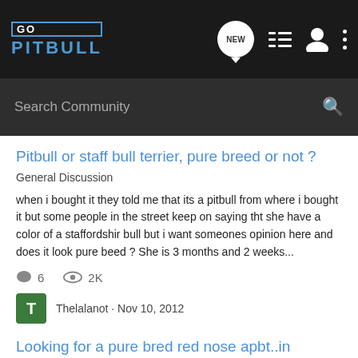GO PITBULL — Navigation bar with search, new posts, list, profile, and more icons
Pitbull or staff bull terrier, pure breed or not ?
General Discussion
when i bought it they told me that its a pitbull from where i bought it but some people in the street keep on saying tht she have a color of a staffordshir bull but i want someones opinion here and does it look pure beed ? She is 3 months and 2 weeks...
6 comments · 2K views
Thelalanot · Nov 10, 2012
Tags: breed, bull, pitbull, pure, staff, terrier
Looking for a pure bred red nose apbt..in Ontario
General Discussion